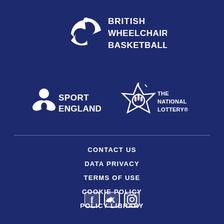[Figure (logo): British Wheelchair Basketball logo — white wheelchair basketball player icon with three segments, text BRITISH WHEELCHAIR BASKETBALL in bold white]
[Figure (logo): Sport England logo — white stylized flower/person icon, text SPORT ENGLAND in bold white]
[Figure (logo): The National Lottery logo — white hand with finger pointed up and sparkles, text THE NATIONAL LOTTERY in bold white]
CONTACT US
DATA PRIVACY
TERMS OF USE
COOKIE POLICY
POLICY LIBRARY
[Figure (other): Social media icons: Facebook, Twitter, Instagram — all white]